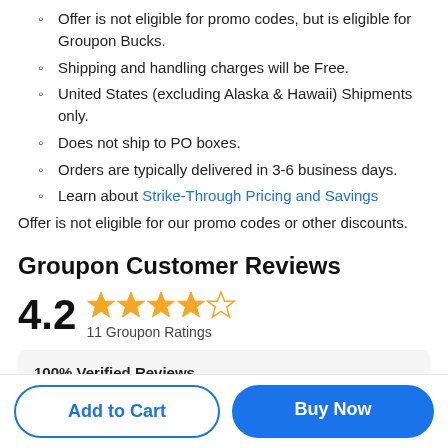Offer is not eligible for promo codes, but is eligible for Groupon Bucks.
Shipping and handling charges will be Free.
United States (excluding Alaska & Hawaii) Shipments only.
Does not ship to PO boxes.
Orders are typically delivered in 3-6 business days.
Learn about Strike-Through Pricing and Savings
Offer is not eligible for our promo codes or other discounts.
Groupon Customer Reviews
4.2  11 Groupon Ratings
100% Verified Reviews
All Groupon reviews are from people who have